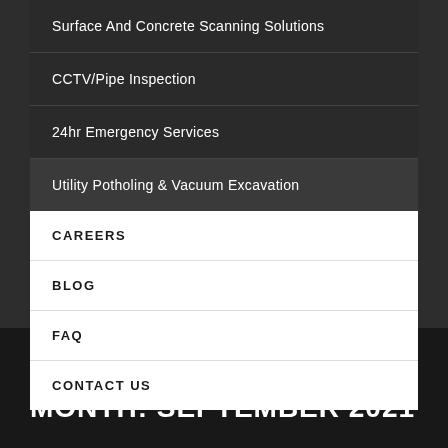Surface And Concrete Scanning Solutions
CCTV/Pipe Inspection
24hr Emergency Services
Utility Potholing & Vacuum Excavation
CAREERS
BLOG
FAQ
CONTACT US
MONTH: SEPTEMBER 2021